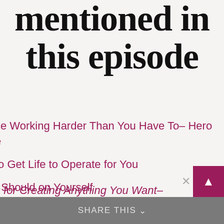mentioned in this episode
ce Working Harder Than You Have To- Hero e
to Get Life to Operate for You
t Should on Yourself
to End Drama- 10 Steps to Shifting You and Team Out of Drama
s for Creating Anything You Want-
Share This ∨